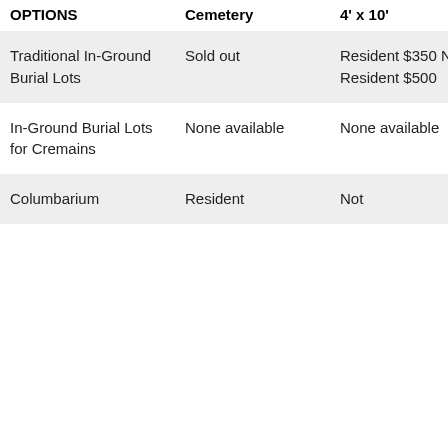| OPTIONS | Cemetery | 4' x 10' |
| --- | --- | --- |
| Traditional In-Ground Burial Lots | Sold out | Resident $350 Non-Resident $500 |
| In-Ground Burial Lots for Cremains | None available | None available |
| Columbarium | Resident | Not |